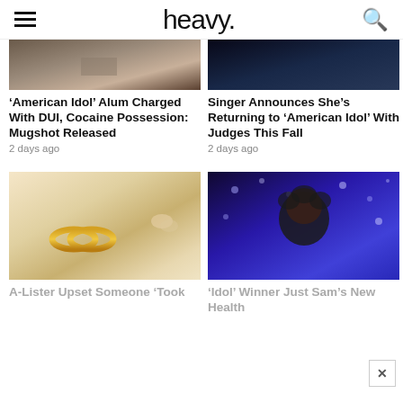heavy.
[Figure (photo): Partial image of a scene on a floor, top of card 1]
[Figure (photo): Dark blue-toned image, top of card 2]
‘American Idol’ Alum Charged With DUI, Cocaine Possession: Mugshot Released
2 days ago
Singer Announces She’s Returning to ‘American Idol’ With Judges This Fall
2 days ago
[Figure (photo): Gold wedding rings on a white decorative plate with flowers]
[Figure (photo): Woman with curly hair smiling against a blue LED light background]
A-Lister Upset Someone ‘Took
‘Idol’ Winner Just Sam’s New Health